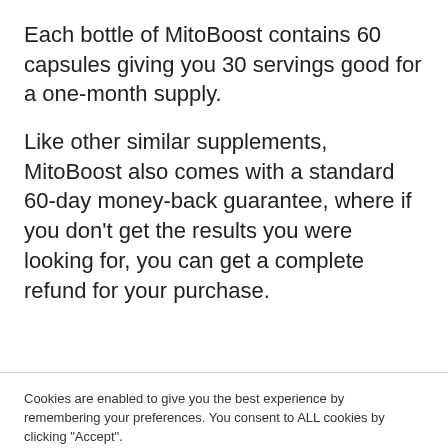Each bottle of MitoBoost contains 60 capsules giving you 30 servings good for a one-month supply.
Like other similar supplements, MitoBoost also comes with a standard 60-day money-back guarantee, where if you don't get the results you were looking for, you can get a complete refund for your purchase.
Cookies are enabled to give you the best experience by remembering your preferences. You consent to ALL cookies by clicking "Accept".
Cookie settings
ACCEPT